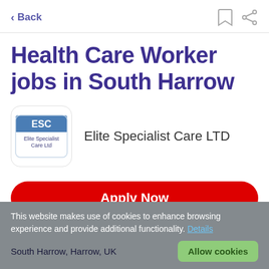< Back
Health Care Worker jobs in South Harrow
[Figure (logo): ESC Elite Specialist Care Ltd logo — a rounded rectangle badge with blue header bar showing 'ESC' and white body showing 'Elite Specialist Care Ltd']
Elite Specialist Care LTD
Apply Now
This website makes use of cookies to enhance browsing experience and provide additional functionality. Details
South Harrow, Harrow, UK
Allow cookies